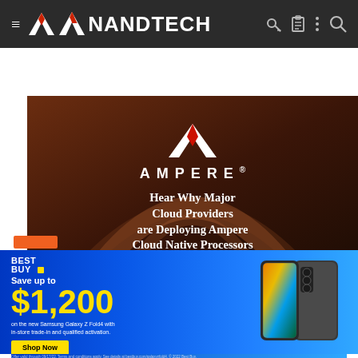AnandTech navigation bar with hamburger menu, logo, and icons (key, clipboard, dots, search)
[Figure (advertisement): Ampere Computing advertisement banner on dark brown background with Ampere logo (red/white A mark) and text: AMPERE. Hear Why Major Cloud Providers are Deploying Ampere Cloud Native Processors]
[Figure (advertisement): Best Buy advertisement banner with blue gradient background. Text: Save up to $1,200 on the new Samsung Galaxy Z Fold4 with in-store trade-in and qualified activation. Shop Now button. Samsung Galaxy Z Fold4 phone image on right.]
Offer valid through 09/17/22. Terms and conditions apply. See details at bestbuy.com/galaxyzfold4. © 2022 Best Buy.